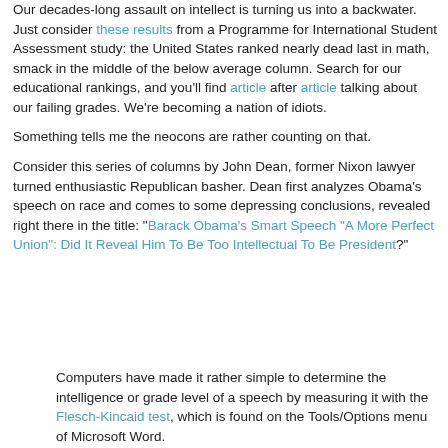Our decades-long assault on intellect is turning us into a backwater. Just consider these results from a Programme for International Student Assessment study: the United States ranked nearly dead last in math, smack in the middle of the below average column. Search for our educational rankings, and you'll find article after article talking about our failing grades. We're becoming a nation of idiots.
Something tells me the neocons are rather counting on that.
Consider this series of columns by John Dean, former Nixon lawyer turned enthusiastic Republican basher. Dean first analyzes Obama's speech on race and comes to some depressing conclusions, revealed right there in the title: "Barack Obama's Smart Speech "A More Perfect Union": Did It Reveal Him To Be Too Intellectual To Be President?"
Computers have made it rather simple to determine the intelligence or grade level of a speech by measuring it with the Flesch-Kincaid test, which is found on the Tools/Options menu of Microsoft Word. This article also makes some...